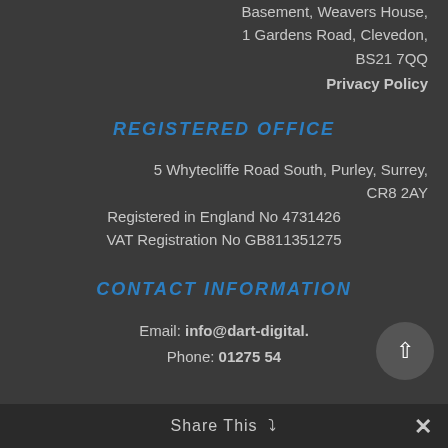Basement, Weavers House, 1 Gardens Road, Clevedon, BS21 7QQ
Privacy Policy
REGISTERED OFFICE
5 Whytecliffe Road South, Purley, Surrey, CR8 2AY
Registered in England No 4731426
VAT Registration No GB811351275
CONTACT INFORMATION
Email: info@dart-digital.
Phone: 01275 54
Share This ∨  ✕